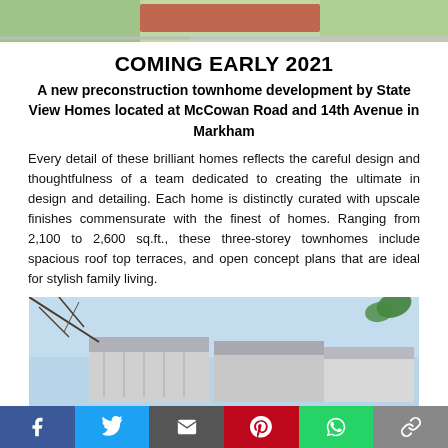[Figure (photo): Aerial/plan view of a development site with red highlighted plot, green areas and road]
COMING EARLY 2021
A new preconstruction townhome development by State View Homes located at McCowan Road and 14th Avenue in Markham
Every detail of these brilliant homes reflects the careful design and thoughtfulness of a team dedicated to creating the ultimate in design and detailing. Each home is distinctly curated with upscale finishes commensurate with the finest of homes. Ranging from 2,100 to 2,600 sq.ft., these three-storey townhomes include spacious roof top terraces, and open concept plans that are ideal for stylish family living.
[Figure (photo): Exterior photo of modern townhome development with sky background and foliage]
Social share bar: Facebook, Twitter, Email, Pinterest, WhatsApp, Link